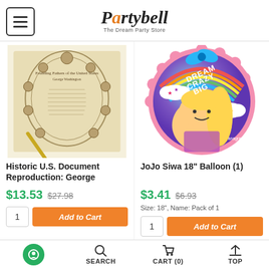Partybell - The Dream Party Store
[Figure (photo): Historic U.S. Document Reproduction scroll with portrait medallions and a gold pen]
Historic U.S. Document Reproduction: George
$13.53  $27.98
[Figure (photo): JoJo Siwa 18 inch Dream Crazy Big mylar balloon with rainbow and bow design]
JoJo Siwa 18" Balloon (1)
$3.41  $6.93
Size: 18", Name: Pack of 1
SEARCH  CART (0)  TOP